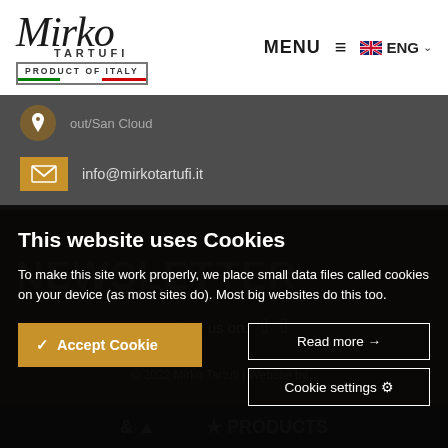Mirko Tartufi — PRODUCT OF ITALY | MENU  ENG
out/San Cloud
info@mirkotartufi.it
This website uses Cookies
To make this site work properly, we place small data files called cookies on your device (as most sites do). Most big websites do this too.
Accept Cookie
Read more →
Cookie settings ⚙
Follow us on:
© 2022 Mirko Tartufi | Website by...